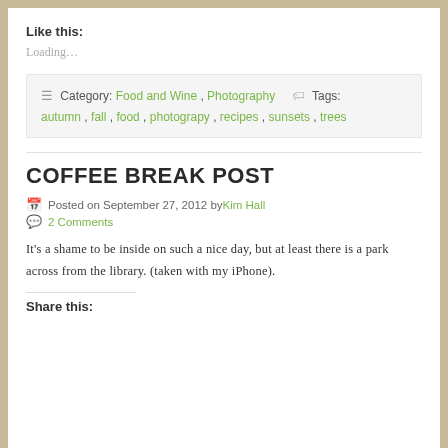Like this:
Loading…
Category: Food and Wine, Photography   Tags: autumn, fall, food, photograpy, recipes, sunsets, trees
COFFEE BREAK POST
Posted on September 27, 2012 by Kim Hall
2 Comments
It's a shame to be inside on such a nice day, but at least there is a park across from the library. (taken with my iPhone).
Share this: